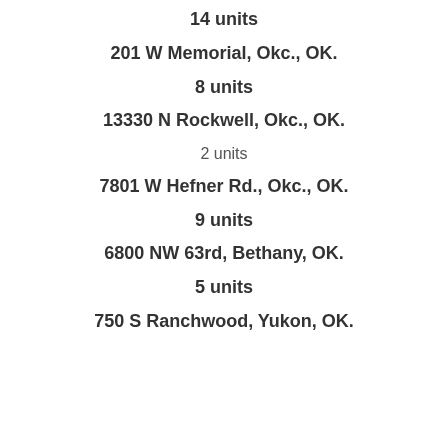14 units
201 W Memorial, Okc., OK.
8 units
13330 N Rockwell, Okc., OK.
2 units
7801 W Hefner Rd., Okc., OK.
9 units
6800 NW 63rd, Bethany, OK.
5 units
750 S Ranchwood, Yukon, OK.